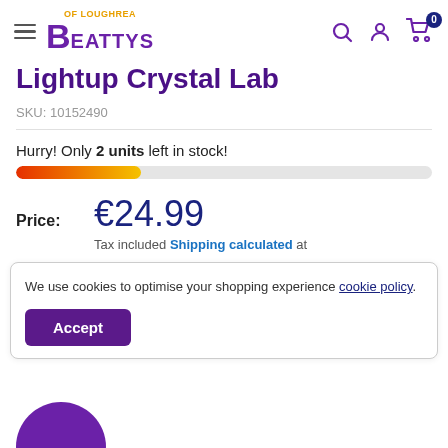Beattys of Loughrea
Lightup Crystal Lab
SKU: 10152490
Hurry! Only 2 units left in stock!
[Figure (other): Stock progress bar showing approximately 30% remaining, gradient from orange-red to yellow]
Price: €24.99
Tax included Shipping calculated at
We use cookies to optimise your shopping experience cookie policy.
Accept